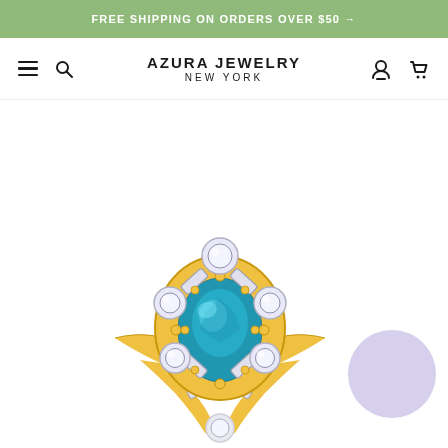FREE SHIPPING ON ORDERS OVER $50 →
AZURA JEWELRY
NEW YORK
[Figure (photo): A gold ring featuring a large oval blue topaz center stone surrounded by baguette and round diamond accents in a starburst halo setting, on a white background. A small lavender/purple circle appears in the lower right.]